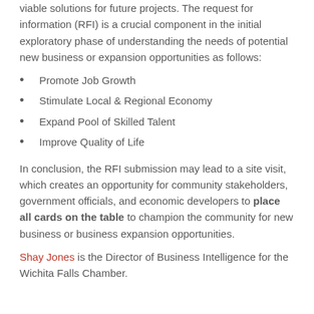viable solutions for future projects. The request for information (RFI) is a crucial component in the initial exploratory phase of understanding the needs of potential new business or expansion opportunities as follows:
Promote Job Growth
Stimulate Local & Regional Economy
Expand Pool of Skilled Talent
Improve Quality of Life
In conclusion, the RFI submission may lead to a site visit, which creates an opportunity for community stakeholders, government officials, and economic developers to place all cards on the table to champion the community for new business or business expansion opportunities.
Shay Jones is the Director of Business Intelligence for the Wichita Falls Chamber.